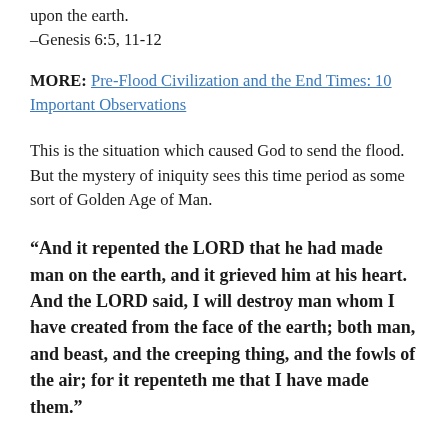upon the earth.
–Genesis 6:5, 11-12
MORE: Pre-Flood Civilization and the End Times: 10 Important Observations
This is the situation which caused God to send the flood.  But the mystery of iniquity sees this time period as some sort of Golden Age of Man.
“And it repented the LORD that he had made man on the earth, and it grieved him at his heart. And the LORD said, I will destroy man whom I have created from the face of the earth; both man, and beast, and the creeping thing, and the fowls of the air; for it repenteth me that I have made them.”